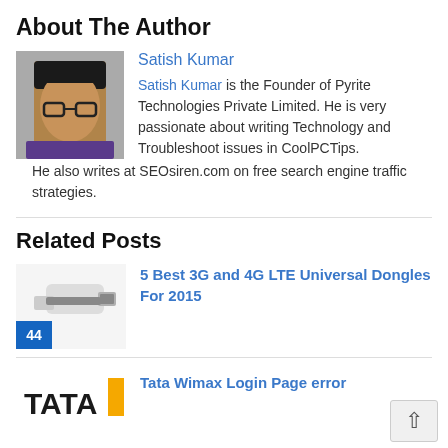About The Author
[Figure (photo): Portrait photo of Satish Kumar, a man with glasses]
Satish Kumar
Satish Kumar is the Founder of Pyrite Technologies Private Limited. He is very passionate about writing Technology and Troubleshoot issues in CoolPCTips. He also writes at SEOsiren.com on free search engine traffic strategies.
Related Posts
[Figure (photo): Image of a 3G/4G USB dongle with badge showing 44]
5 Best 3G and 4G LTE Universal Dongles For 2015
[Figure (logo): TATA logo / brand image]
Tata Wimax Login Page error